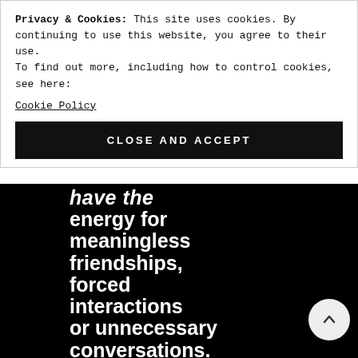Privacy & Cookies: This site uses cookies. By continuing to use this website, you agree to their use.
To find out more, including how to control cookies, see here:
Cookie Policy
CLOSE AND ACCEPT
[Figure (illustration): Black background image with large bold white text reading: 'have the energy for meaningless friendships, forced interactions or unnecessary conversations.']